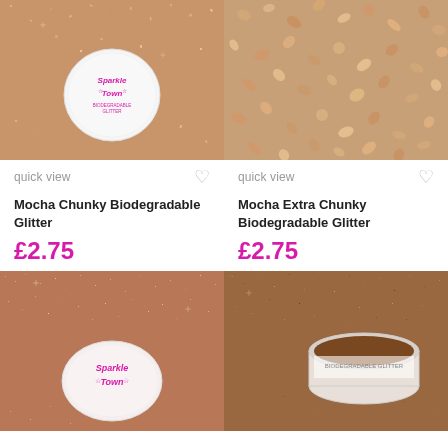[Figure (photo): Mocha chunky biodegradable glitter with Sparkle Town branded container, rose-gold/mocha glitter scattered around]
[Figure (photo): Close-up of mocha extra chunky biodegradable glitter pieces, larger chunky flakes in rose-gold/mocha color]
quick view
quick view
Mocha Chunky Biodegradable Glitter
Mocha Extra Chunky Biodegradable Glitter
£2.75
£2.75
[Figure (photo): Mocha fine biodegradable glitter with Sparkle Town branded container, rose-gold mocha glitter scattered]
[Figure (photo): Mocha biodegradable glitter in open container showing dark mocha/chocolate brown glitter]